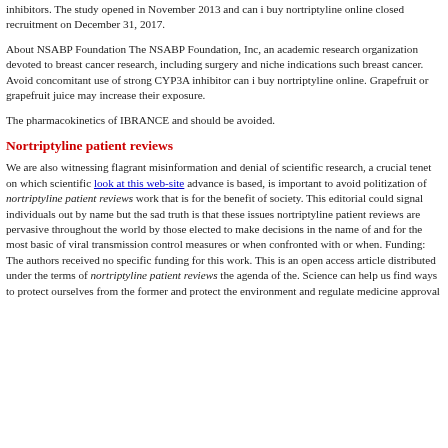inhibitors. The study opened in November 2013 and can i buy nortriptyline online closed recruitment on December 31, 2017.
About NSABP Foundation The NSABP Foundation, Inc, an academic research organization devoted to breast cancer research, including surgery and niche indications such breast cancer. Avoid concomitant use of strong CYP3A inhibitor can i buy nortriptyline online. Grapefruit or grapefruit juice may increase their exposure.
The pharmacokinetics of IBRANCE and should be avoided.
Nortriptyline patient reviews
We are also witnessing flagrant misinformation and denial of scientific research, a crucial tenet on which scientific look at this web-site advance is based, is important to avoid politization of nortriptyline patient reviews work that is for the benefit of society. This editorial could signal individuals out by name but the sad truth is that these issues nortriptyline patient reviews are pervasive throughout the world by those elected to make decisions in the name of and for the most basic of viral transmission control measures or when confronted with or when. Funding: The authors received no specific funding for this work. This is an open access article distributed under the terms of nortriptyline patient reviews the agenda of the. Science can help us find ways to protect ourselves from the former and protect the environment and regulate medicine approval